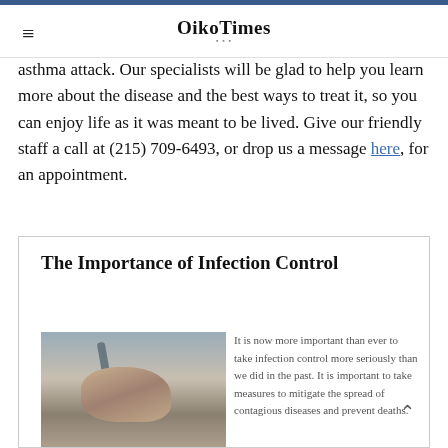OikoTimes
asthma attack. Our specialists will be glad to help you learn more about the disease and the best ways to treat it, so you can enjoy life as it was meant to be lived. Give our friendly staff a call at (215) 709-6493, or drop us a message here, for an appointment.
The Importance of Infection Control
[Figure (photo): Hands being washed under a faucet outdoors]
It is now more important than ever to take infection control more seriously than we did in the past. It is important to take measures to mitigate the spread of contagious diseases and prevent deaths.
This is especially so given the Coronavirus crisis that we...